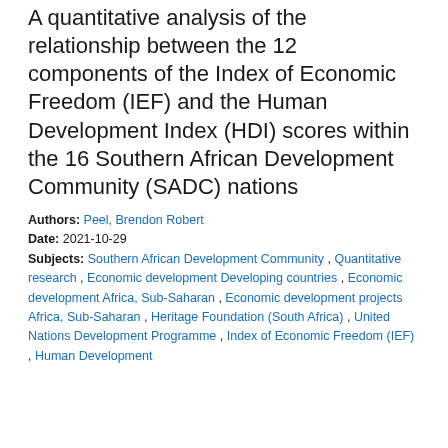A quantitative analysis of the relationship between the 12 components of the Index of Economic Freedom (IEF) and the Human Development Index (HDI) scores within the 16 Southern African Development Community (SADC) nations
Authors: Peel, Brendon Robert
Date: 2021-10-29
Subjects: Southern African Development Community , Quantitative research , Economic development Developing countries , Economic development Africa, Sub-Saharan , Economic development projects Africa, Sub-Saharan , Heritage Foundation (South Africa) , United Nations Development Programme , Index of Economic Freedom (IEF) , Human Development